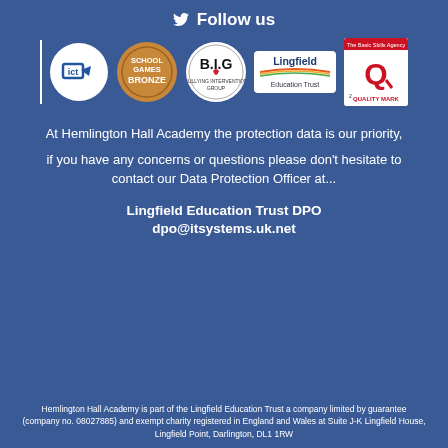Follow us
[Figure (logo): Row of logos: ICT mark, School Games Bronze, B.I.G (Bullying Intervention Group), Lingfield Education Trust, Basic Skills Agency Quality Mark]
At Hemlington Hall Academy the protection data is our priority, if you have any concerns or questions please don't hesitate to contact our Data Protection Officer at...
Lingfield Education Trust DPO
dpo@itsystems.uk.net
Hemlington Hall Academy is part of the Lingfield Education Trust a company limited by guarantee (company no. 08027885) and exempt charity registered in England and Wales at Suite J-K Lingfield House, Lingfield Point, Darlington, DL1 1RW